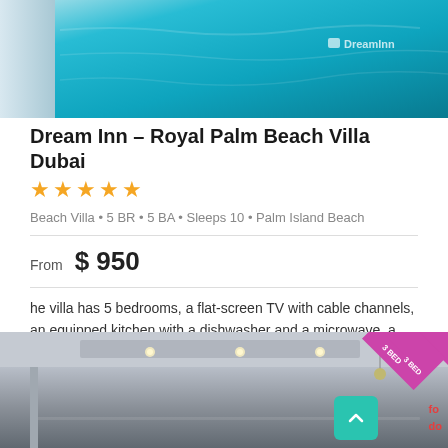[Figure (photo): Aerial view of blue swimming pool with white tiled edge, DreamInn watermark visible in upper right]
Dream Inn – Royal Palm Beach Villa Dubai
★★★★★
Beach Villa • 5 BR • 5 BA • Sleeps 10 • Palm Island Beach
From  $ 950
he villa has 5 bedrooms, a flat-screen TV with cable channels, an equipped kitchen with a dishwasher and a microwave, a washing machine, and 1 bathroom with a bath.
[Figure (photo): Interior photo of a modern villa room with ceiling spotlights, partially visible with a magenta ribbon badge showing '3 BED' and a teal scroll-to-top button]